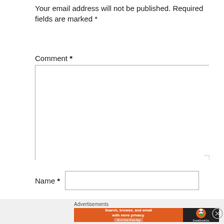Your email address will not be published. Required fields are marked *
Comment *
Name *
[Figure (screenshot): DuckDuckGo advertisement banner: orange background with text 'Search, browse, and email with more privacy. All in One Free App' and DuckDuckGo logo on dark background]
Advertisements